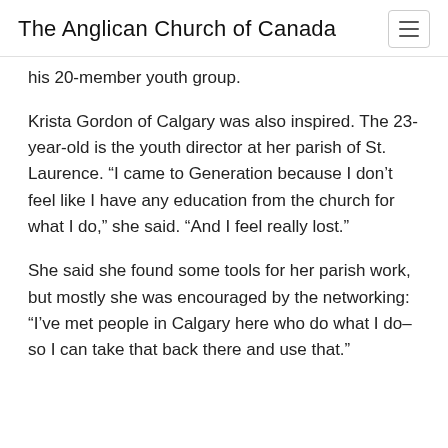The Anglican Church of Canada
his 20-member youth group.
Krista Gordon of Calgary was also inspired. The 23-year-old is the youth director at her parish of St. Laurence. “I came to Generation because I don’t feel like I have any education from the church for what I do,” she said. “And I feel really lost.”
She said she found some tools for her parish work, but mostly she was encouraged by the networking: “I’ve met people in Calgary here who do what I do–so I can take that back there and use that.”